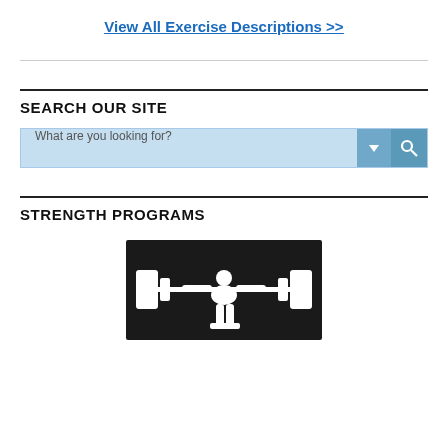View All Exercise Descriptions >>
SEARCH OUR SITE
What are you looking for?
STRENGTH PROGRAMS
[Figure (photo): Silhouette of a person doing a deadlift or overhead lift with a barbell and large weight plates, white silhouette on dark/black background.]